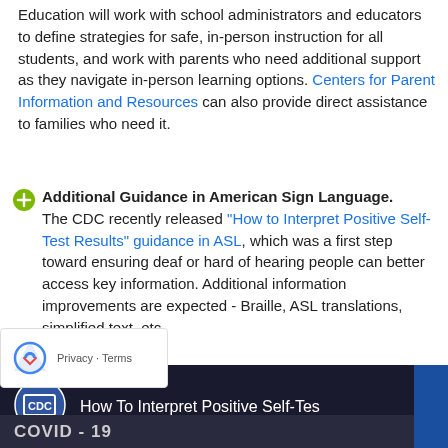Education will work with school administrators and educators to define strategies for safe, in-person instruction for all students, and work with parents who need additional support as they navigate in-person learning options. Centers for Parent Information and Resources can also provide direct assistance to families who need it.
Additional Guidance in American Sign Language. The CDC recently released "How to Interpret Positive Self-Test Results" guidance in ASL, which was a first step toward ensuring deaf or hard of hearing people can better access key information. Additional information improvements are expected - Braille, ASL translations, simplified text, etc.
[Figure (screenshot): CDC video thumbnail showing 'How To Interpret Positive Self-Test' with CDC logo, dark background, and text 'COVID - 19 ASL Video Series']